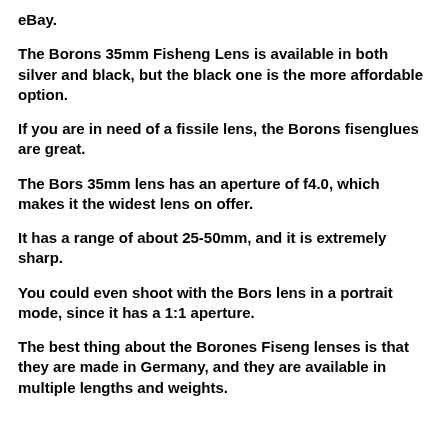eBay.
The Borons 35mm Fisheng Lens is available in both silver and black, but the black one is the more affordable option.
If you are in need of a fissile lens, the Borons fisenglues are great.
The Bors 35mm lens has an aperture of f4.0, which makes it the widest lens on offer.
It has a range of about 25-50mm, and it is extremely sharp.
You could even shoot with the Bors lens in a portrait mode, since it has a 1:1 aperture.
The best thing about the Borones Fiseng lenses is that they are made in Germany, and they are available in multiple lengths and weights.